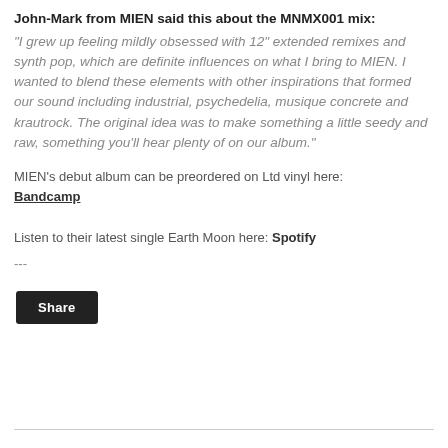John-Mark from MIEN said this about the MNMX001 mix:
“I grew up feeling mildly obsessed with 12” extended remixes and synth pop, which are definite influences on what I bring to MIEN. I wanted to blend these elements with other inspirations that formed our sound including industrial, psychedelia, musique concrete and krautrock. The original idea was to make something a little seedy and raw, something you’ll hear plenty of on our album.”
MIEN’s debut album can be preordered on Ltd vinyl here: Bandcamp
Listen to their latest single Earth Moon here: Spotify
---
Share